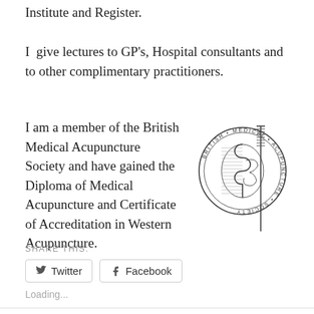Institute and Register.
I  give lectures to GP's, Hospital consultants and to other complimentary practitioners.
I am a member of the British Medical Acupuncture Society and have gained the Diploma of Medical Acupuncture and Certificate of Accreditation in Western Acupuncture.
[Figure (logo): British Medical Acupuncture Society circular logo with needle and yin-yang symbol, text reading BRITISH MEDICAL ACUPUNCTURE SOCIETY around the border]
SHARE THIS:
Twitter
Facebook
Loading...